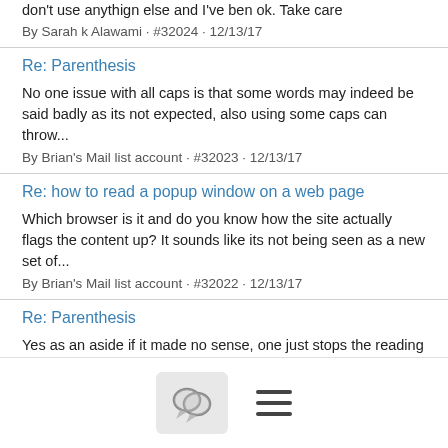don't use anythign else and I've ben ok. Take care
By Sarah k Alawami · #32024 · 12/13/17
Re: Parenthesis
No one issue with all caps is that some words may indeed be said badly as its not expected, also using some caps can throw...
By Brian's Mail list account · #32023 · 12/13/17
Re: how to read a popup window on a web page
Which browser is it and do you know how the site actually flags the content up? It sounds like its not being seen as a new set of...
By Brian's Mail list account · #32022 · 12/13/17
Re: Parenthesis
Yes as an aside if it made no sense, one just stops the reading and cursors over the offending bits to clarify. Turning off...
By Brian's Mail list account · #32021 · 12/13/17
Re: Parenthesis
By Brian's Mail list account · ...